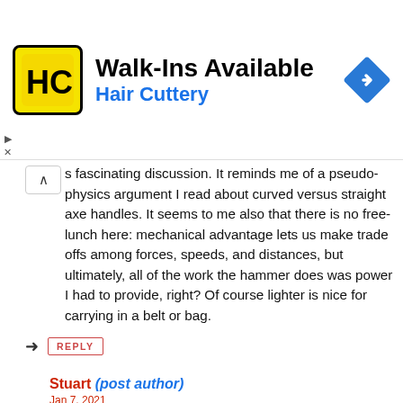[Figure (logo): Hair Cuttery advertisement banner with yellow HC logo, text 'Walk-Ins Available' and 'Hair Cuttery', and a blue navigation diamond icon]
fascinating discussion. It reminds me of a pseudo-physics argument I read about curved versus straight axe handles. It seems to me also that there is no free-lunch here: mechanical advantage lets us make trade offs among forces, speeds, and distances, but ultimately, all of the work the hammer does was power I had to provide, right? Of course lighter is nice for carrying in a belt or bag.
REPLY
Stuart (post author)
Jan 7, 2021
That was actually unintentional – I mean... aren't I clever?! =)